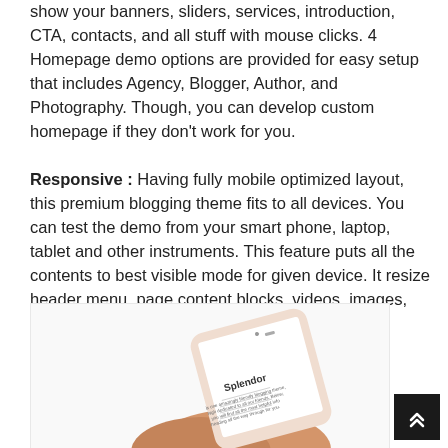show your banners, sliders, services, introduction, CTA, contacts, and all stuff with mouse clicks. 4 Homepage demo options are provided for easy setup that includes Agency, Blogger, Author, and Photography. Though, you can develop custom homepage if they don't work for you.
Responsive : Having fully mobile optimized layout, this premium blogging theme fits to all devices. You can test the demo from your smart phone, laptop, tablet and other instruments. This feature puts all the contents to best visible mode for given device. It resize header menu, page content blocks, videos, images, and headings to fit on destination screen.
[Figure (photo): A hand holding a smartphone displaying the Splendor theme, shown on a white background]